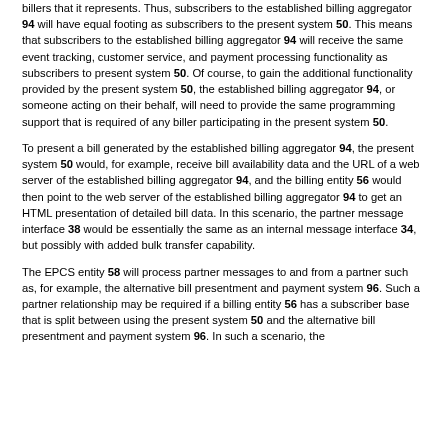billers that it represents. Thus, subscribers to the established billing aggregator 94 will have equal footing as subscribers to the present system 50. This means that subscribers to the established billing aggregator 94 will receive the same event tracking, customer service, and payment processing functionality as subscribers to present system 50. Of course, to gain the additional functionality provided by the present system 50, the established billing aggregator 94, or someone acting on their behalf, will need to provide the same programming support that is required of any biller participating in the present system 50.
To present a bill generated by the established billing aggregator 94, the present system 50 would, for example, receive bill availability data and the URL of a web server of the established billing aggregator 94, and the billing entity 56 would then point to the web server of the established billing aggregator 94 to get an HTML presentation of detailed bill data. In this scenario, the partner message interface 38 would be essentially the same as an internal message interface 34, but possibly with added bulk transfer capability.
The EPCS entity 58 will process partner messages to and from a partner such as, for example, the alternative bill presentment and payment system 96. Such a partner relationship may be required if a billing entity 56 has a subscriber base that is split between using the present system 50 and the alternative bill presentment and payment system 96. In such a scenario, the